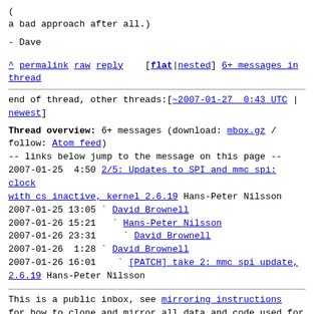(
a bad approach after all.)
- Dave
^ permalink raw reply    [flat|nested] 6+ messages in thread
end of thread, other threads:[~2007-01-27  0:43 UTC | newest]
Thread overview: 6+ messages (download: mbox.gz / follow: Atom feed)
-- links below jump to the message on this page --
2007-01-25  4:50 2/5: Updates to SPI and mmc spi: clock with cs inactive, kernel 2.6.19 Hans-Peter Nilsson
2007-01-25 13:05 ` David Brownell
2007-01-26 15:21   ` Hans-Peter Nilsson
2007-01-26 23:31     ` David Brownell
2007-01-26  1:28 ` David Brownell
2007-01-26 16:01   ` [PATCH] take 2: mmc spi update, 2.6.19 Hans-Peter Nilsson
This is a public inbox, see mirroring instructions
for how to clone and mirror all data and code used for this inbox;
as well as URLs for NNTP newsgroup(s).